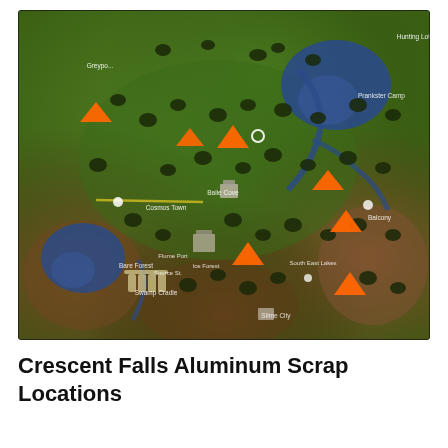[Figure (map): Game map of Crescent Falls showing aluminum scrap locations marked with orange arrow indicators. The map shows varied terrain including green forested areas, brown rocky/desert regions, and blue water bodies. Multiple orange arrows point to specific locations across the map.]
Crescent Falls Aluminum Scrap Locations